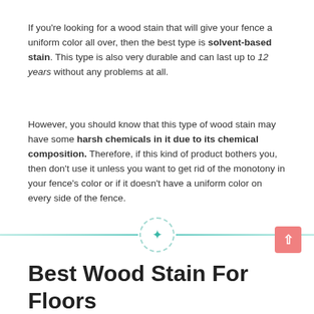If you're looking for a wood stain that will give your fence a uniform color all over, then the best type is solvent-based stain. This type is also very durable and can last up to 12 years without any problems at all.
However, you should know that this type of wood stain may have some harsh chemicals in it due to its chemical composition. Therefore, if this kind of product bothers you, then don't use it unless you want to get rid of the monotony in your fence's color or if it doesn't have a uniform color on every side of the fence.
[Figure (other): Decorative horizontal divider with dashed circle containing a teal asterisk/star in the center, flanked by teal gradient lines on both sides.]
Best Wood Stain For Floors